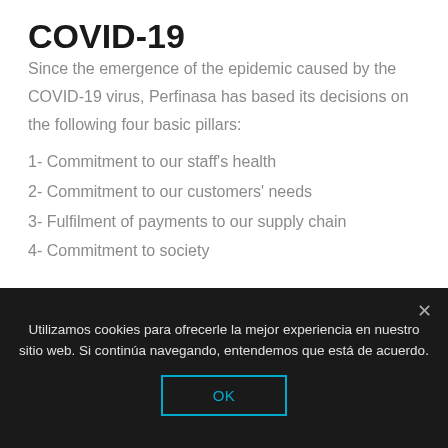COVID-19
Since the emergence of the epidemic caused by the COVID-19 virus, Perfinasa has based its decisions on the following four basic pillars:
1- Commitment to our staff’s health
2- Commitment to our customers’ needs
3- Fulfilment of payments to our supply chain
4- Commitment to society
Our obligation is not to fail our customers. This has been our basic working promise when
Utilizamos cookies para ofrecerle la mejor experiencia en nuestro sitio web. Si continúa navegando, entendemos que está de acuerdo.
OK